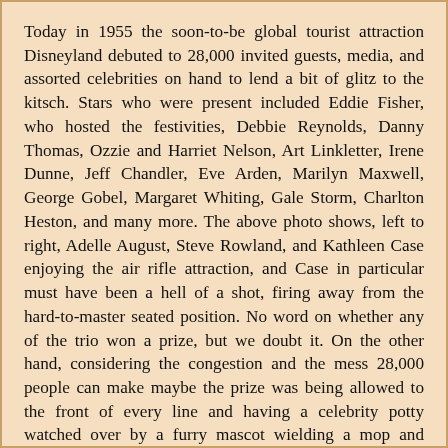Today in 1955 the soon-to-be global tourist attraction Disneyland debuted to 28,000 invited guests, media, and assorted celebrities on hand to lend a bit of glitz to the kitsch. Stars who were present included Eddie Fisher, who hosted the festivities, Debbie Reynolds, Danny Thomas, Ozzie and Harriet Nelson, Art Linkletter, Irene Dunne, Jeff Chandler, Eve Arden, Marilyn Maxwell, George Gobel, Margaret Whiting, Gale Storm, Charlton Heston, and many more. The above photo shows, left to right, Adelle August, Steve Rowland, and Kathleen Case enjoying the air rifle attraction, and Case in particular must have been a hell of a shot, firing away from the hard-to-master seated position. No word on whether any of the trio won a prize, but we doubt it. On the other hand, considering the congestion and the mess 28,000 people can make maybe the prize was being allowed to the front of every line and having a celebrity potty watched over by a furry mascot wielding a mop and bucket. We aren't sure how long Case and Co. hung around—it was 101 degrees Fahrenheit that day and the water fountains weren't functioning—but it